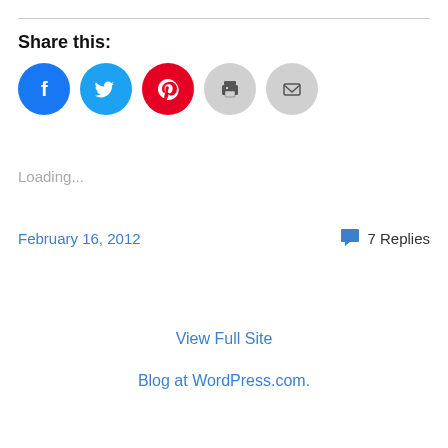Share this:
[Figure (infographic): Row of five social sharing icon circles: Facebook (blue), Twitter (light blue), Pinterest (red), Print (gray), Email (gray)]
Loading...
February 16, 2012
7 Replies
View Full Site
Blog at WordPress.com.